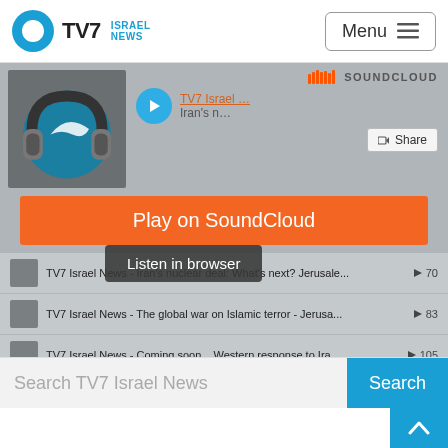TV7 Israel News | Menu
[Figure (screenshot): SoundCloud embedded player showing TV7 Israel News podcast episodes with headphones logo, play buttons, and track listings including Iran's nuclear deal, global war on Islamic terror, and Western response to Ira... with play counts 70, 83, 105]
TV7 Israel News
Jerusalem Studio
Privacy policy
Search TV7 Israel News
Search